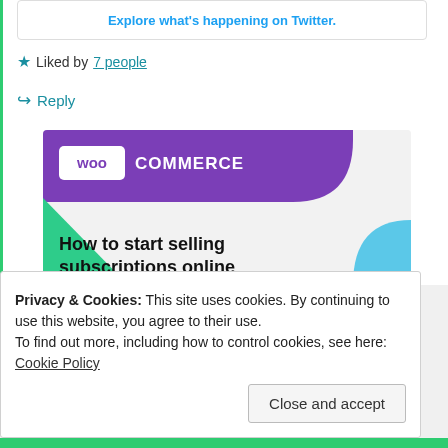Explore what's happening on Twitter.
★ Liked by 7 people
↪ Reply
[Figure (screenshot): WooCommerce promotional banner showing the WooCommerce logo on a purple header, a green triangle shape on the left, a blue curved shape on the right, and bold text reading 'How to start selling subscriptions online' with a purple button below.]
Privacy & Cookies: This site uses cookies. By continuing to use this website, you agree to their use.
To find out more, including how to control cookies, see here: Cookie Policy
Close and accept